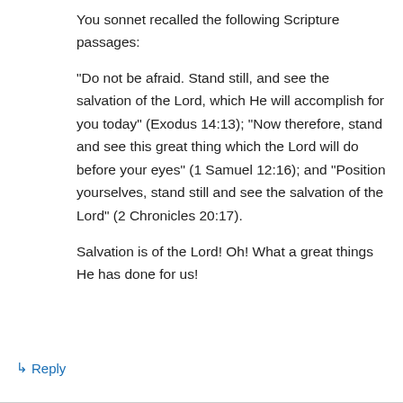You sonnet recalled the following Scripture passages:
“Do not be afraid. Stand still, and see the salvation of the Lord, which He will accomplish for you today” (Exodus 14:13); “Now therefore, stand and see this great thing which the Lord will do before your eyes” (1 Samuel 12:16); and “Position yourselves, stand still and see the salvation of the Lord” (2 Chronicles 20:17).
Salvation is of the Lord! Oh! What a great things He has done for us!
↳ Reply